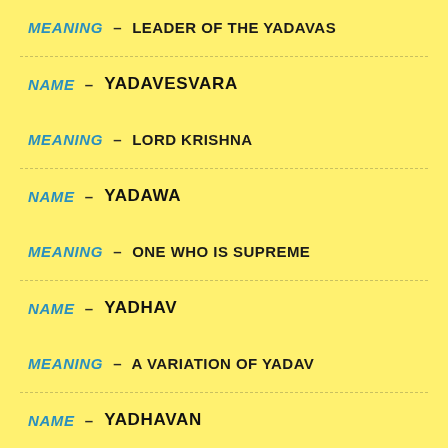MEANING – LEADER OF THE YADAVAS
NAME – YADAVESVARA
MEANING – LORD KRISHNA
NAME – YADAWA
MEANING – ONE WHO IS SUPREME
NAME – YADHAV
MEANING – A VARIATION OF YADAV
NAME – YADHAVAN